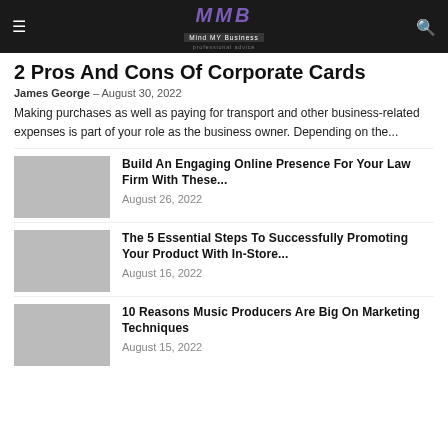Mind MY Business
2 Pros And Cons Of Corporate Cards
James George – August 30, 2022
Making purchases as well as paying for transport and other business-related expenses is part of your role as the business owner. Depending on the...
Build An Engaging Online Presence For Your Law Firm With These...
August 26, 2022
The 5 Essential Steps To Successfully Promoting Your Product With In-Store...
August 16, 2022
10 Reasons Music Producers Are Big On Marketing Techniques
August 15, 2022